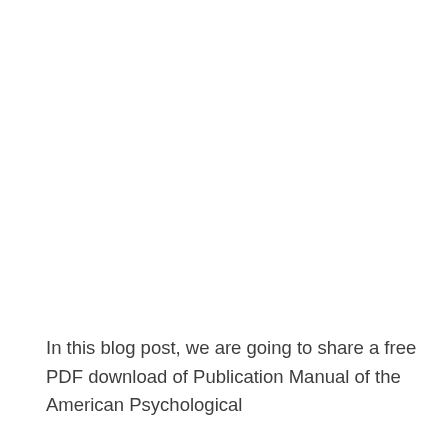In this blog post, we are going to share a free PDF download of Publication Manual of the American Psychological